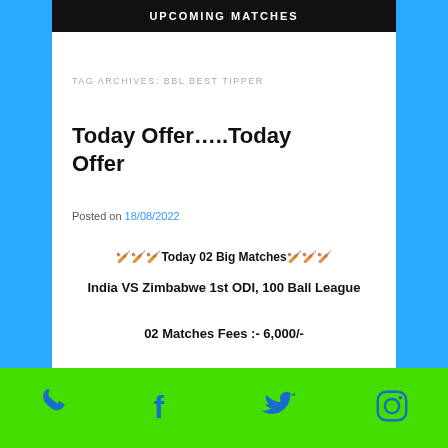UPCOMING MATCHES
TAG ARCHIVES: BBL BEST TIPPER
Today Offer…..Today Offer
Posted on 18/08/2022
🏏🏏🏏Today 02 Big Matches🏏🏏🏏
India VS Zimbabwe 1st ODI,  100 Ball League
02 Matches Fees :- 6,000/-
Social icons: phone, facebook, twitter, instagram